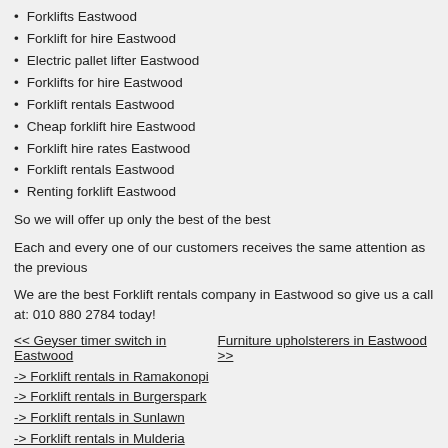Forklifts Eastwood
Forklift for hire Eastwood
Electric pallet lifter Eastwood
Forklifts for hire Eastwood
Forklift rentals Eastwood
Cheap forklift hire Eastwood
Forklift hire rates Eastwood
Forklift rentals Eastwood
Renting forklift Eastwood
So we will offer up only the best of the best
Each and every one of our customers receives the same attention as the previous
We are the best Forklift rentals company in Eastwood so give us a call at: 010 880 2784 today!
<< Geyser timer switch in Eastwood    Furniture upholsterers in Eastwood >>
-> Forklift rentals in Ramakonopi
-> Forklift rentals in Burgerspark
-> Forklift rentals in Sunlawn
-> Forklift rentals in Mulderia
-> Forklift rentals in Staalrus
-> Forklift rentals in Holgatfontein
-> Forklift rentals in Rooiwal